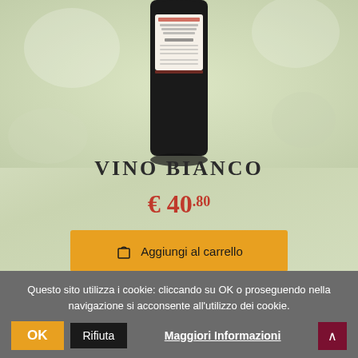[Figure (photo): Wine bottle with white label showing product details, bottom half of bottle visible against blurred greenish-beige background]
VINO BIANCO
€ 40.80
Aggiungi al carrello
Questo sito utilizza i cookie: cliccando su OK o proseguendo nella navigazione si acconsente all'utilizzo dei cookie.
OK
Rifiuta
Maggiori Informazioni